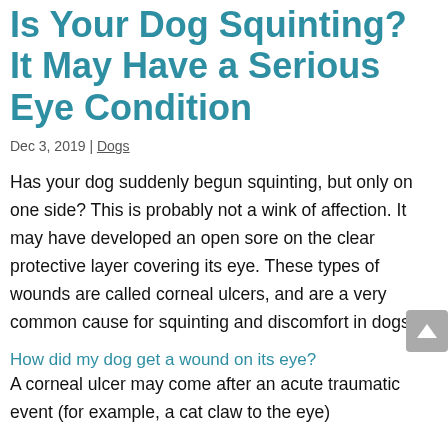Is Your Dog Squinting? It May Have a Serious Eye Condition
Dec 3, 2019 | Dogs
Has your dog suddenly begun squinting, but only on one side? This is probably not a wink of affection. It may have developed an open sore on the clear protective layer covering its eye. These types of wounds are called corneal ulcers, and are a very common cause for squinting and discomfort in dogs.
How did my dog get a wound on its eye?
A corneal ulcer may come after an acute traumatic event (for example, a cat claw to the eye)